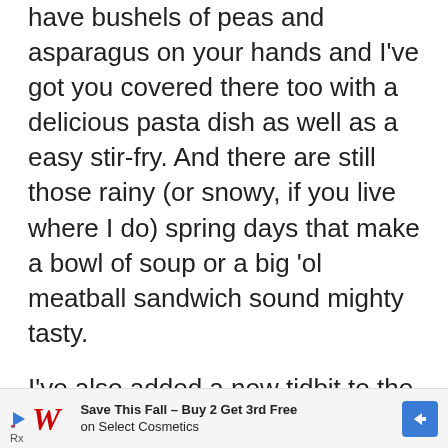have bushels of peas and asparagus on your hands and I've got you covered there too with a delicious pasta dish as well as a easy stir-fry. And there are still those rainy (or snowy, if you live where I do) spring days that make a bowl of soup or a big 'ol meatball sandwich sound mighty tasty.
I've also added a new tidbit to the recipes by indicating whether they are gluten-free (GF), dairy-free (DF), vegan, or vegetarian. Let me know which ones you love or what you are cooking right now, I'm always interested in people's favorites
[Figure (other): Walgreens advertisement banner: Save This Fall - Buy 2 Get 3rd Free on Select Cosmetics]